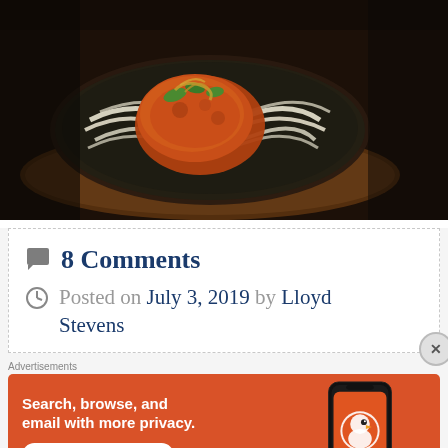[Figure (photo): Food photo showing a sizzler dish with fried chicken/paneer and white onion strands on a dark cast iron plate on a wooden board, viewed from above on a dark table.]
💬 8 Comments
🕐 Posted on July 3, 2019 by Lloyd Stevens
[Figure (other): DuckDuckGo advertisement banner: 'Search, browse, and email with more privacy. All in One Free App' with a phone showing the DuckDuckGo app.]